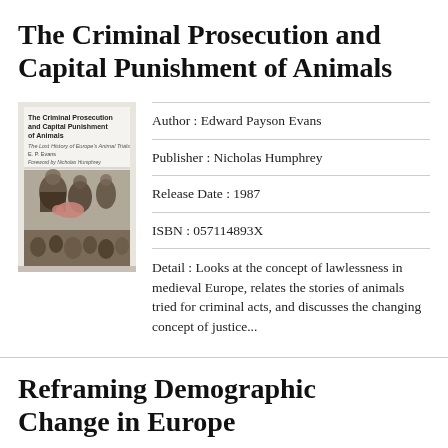The Criminal Prosecution and Capital Punishment of Animals
[Figure (illustration): Book cover of 'The Criminal Prosecution and Capital Punishment of Animals' by E.P. Evans, with foreword by Nicholas Humphrey. Shows a medieval-style black and white illustration.]
Author : Edward Payson Evans
Publisher : Nicholas Humphrey
Release Date : 1987
ISBN : 057114893X
Detail : Looks at the concept of lawlessness in medieval Europe, relates the stories of animals tried for criminal acts, and discusses the changing concept of justice...
Reframing Demographic Change in Europe